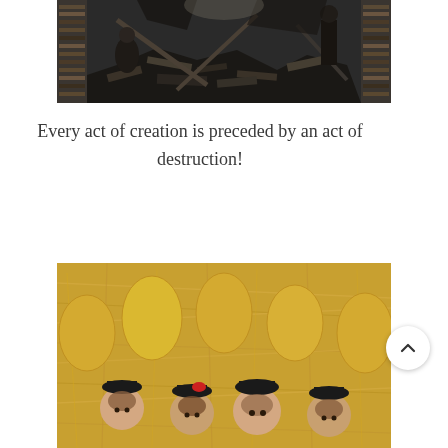[Figure (photo): Black and white photograph of a bombed or destroyed library interior. Debris, broken wood, and rubble fill the floor. Bookshelves remain standing on both sides. Two people are visible among the wreckage.]
Every act of creation is preceded by an act of destruction!
[Figure (photo): Color photograph of several babies or toddlers wearing small black and red hats/berets, nestled in hay or straw alongside large yellow/golden egg-shaped objects.]